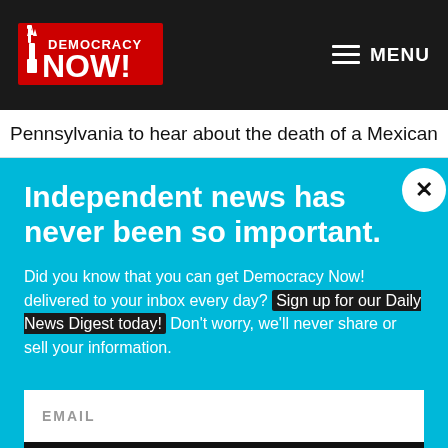Democracy Now! — MENU
Pennsylvania to hear about the death of a Mexican
Independent news has never been so important.
Did you know that you can get Democracy Now! delivered to your inbox every day? Sign up for our Daily News Digest today! Don't worry, we'll never share or sell your information.
EMAIL
SIGN UP!